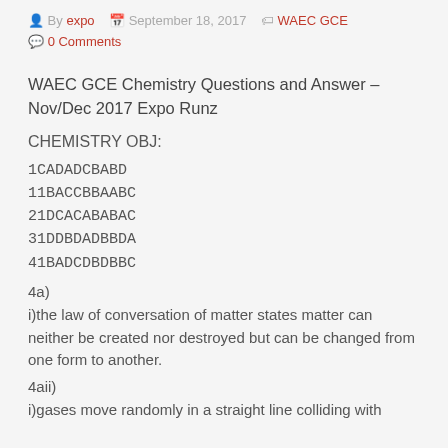By expo  September 18, 2017  WAEC GCE  0 Comments
WAEC GCE Chemistry Questions and Answer – Nov/Dec 2017 Expo Runz
CHEMISTRY OBJ:
1CADADCBABD
11BACCBBAABC
21DCACABABAC
31DDBDADBBDA
41BADCDBDBBC
4a)
i)the law of conversation of matter states matter can neither be created nor destroyed but can be changed from one form to another.
4aii)
i)gases move randomly in a straight line colliding with